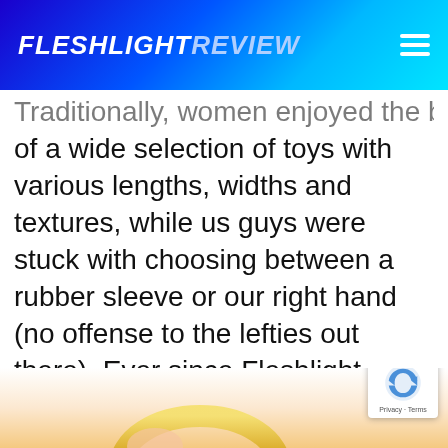FLESHLIGHT REVIEW
Traditionally, women enjoyed the benefits of a wide selection of toys with various lengths, widths and textures, while us guys were stuck with choosing between a rubber sleeve or our right hand (no offense to the lefties out there). Ever since Fleshlight came on the scene (pun not intended) – the choices for men have done nothing but get better and more diverse
[Figure (photo): Bottom portion showing a gold ring-like object against a light peach/skin-toned background, partially cut off at the page bottom.]